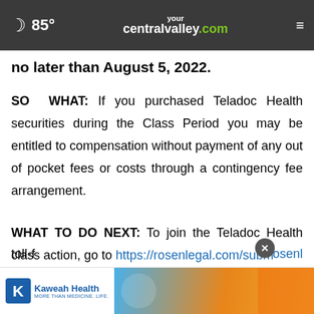85° yourcentralvalley.com
no later than August 5, 2022.
SO WHAT: If you purchased Teladoc Health securities during the Class Period you may be entitled to compensation without payment of any out of pocket fees or costs through a contingency fee arrangement.
WHAT TO DO NEXT: To join the Teladoc Health class action, go to https://rosenlegal.com/submit-for… Phillip… Esq. toll-f… rosenl…
[Figure (screenshot): Kaweah Health advertisement banner at the bottom of the page with logo and colorful background image]